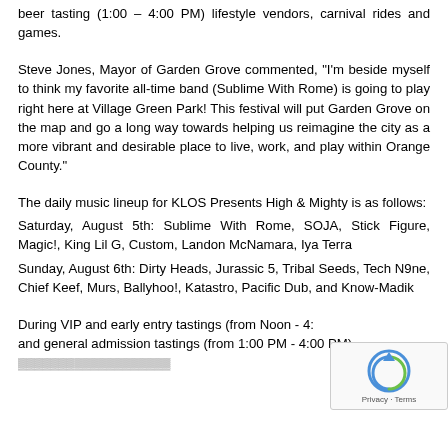beer tasting (1:00 – 4:00 PM) lifestyle vendors, carnival rides and games.
Steve Jones, Mayor of Garden Grove commented, "I'm beside myself to think my favorite all-time band (Sublime With Rome) is going to play right here at Village Green Park! This festival will put Garden Grove on the map and go a long way towards helping us reimagine the city as a more vibrant and desirable place to live, work, and play within Orange County."
The daily music lineup for KLOS Presents High & Mighty is as follows:
Saturday, August 5th: Sublime With Rome, SOJA, Stick Figure, Magic!, King Lil G, Custom, Landon McNamara, Iya Terra
Sunday, August 6th: Dirty Heads, Jurassic 5, Tribal Seeds, Tech N9ne, Chief Keef, Murs, Ballyhoo!, Katastro, Pacific Dub, and Know-Madik
During VIP and early entry tastings (from Noon - 4:00 PM) and general admission tastings (from 1:00 PM - 4:00 PM)